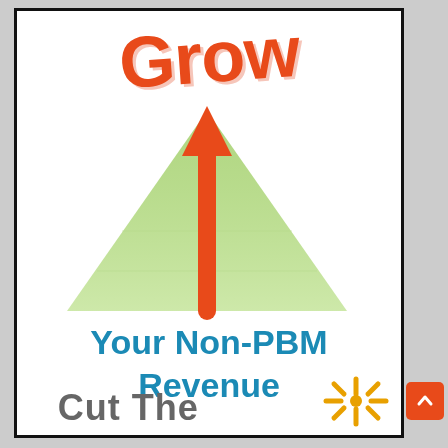Grow
[Figure (illustration): Green triangle/pyramid with a red upward arrow in the center, symbolizing growth]
Your Non-PBM Revenue
Cut The